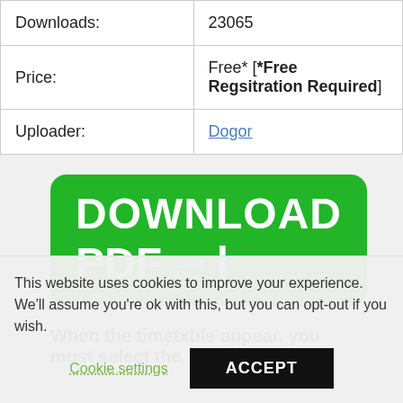| Downloads: | 23065 |
| Price: | Free* [*Free Regsitration Required] |
| Uploader: | Dogor |
[Figure (other): Green rounded rectangle download button with white bold text reading 'DOWNLOAD PDF →|']
When the timetxble appear, you must select the
This website uses cookies to improve your experience. We'll assume you're ok with this, but you can opt-out if you wish.